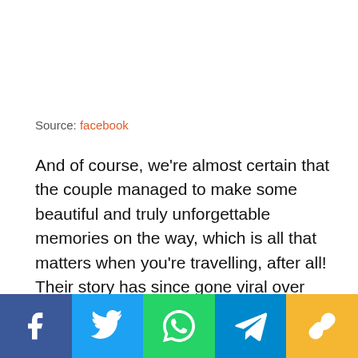Source: facebook
And of course, we're almost certain that the couple managed to make some beautiful and truly unforgettable memories on the way, which is all that matters when you're travelling, after all! Their story has since gone viral over social media.
The couple is said to still be on the road seeing new…
[Figure (infographic): Social media share buttons bar: Facebook (blue), Twitter (light blue), WhatsApp (green), Telegram (blue), Link/copy (yellow)]